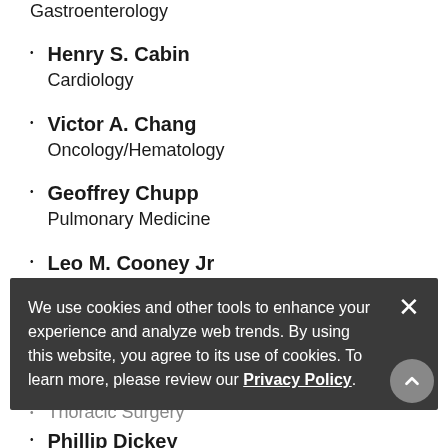Gastroenterology
Henry S. Cabin
Cardiology
Victor A. Chang
Oncology/Hematology
Geoffrey Chupp
Pulmonary Medicine
Leo M. Cooney Jr
Geriatric Medicine
Richard Dean
[specialty partially obscured]
Leo C. Doris
[specialty partially obscured]
[name partially obscured]
Thoracic Surgery
Phillip Dickey
We use cookies and other tools to enhance your experience and analyze web trends. By using this website, you agree to its use of cookies. To learn more, please review our Privacy Policy.